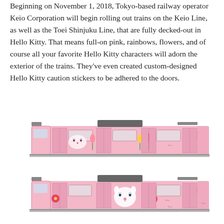Beginning on November 1, 2018, Tokyo-based railway operator Keio Corporation will begin rolling out trains on the Keio Line, as well as the Toei Shinjuku Line, that are fully decked-out in Hello Kitty. That means full-on pink, rainbows, flowers, and of course all your favorite Hello Kitty characters will adorn the exterior of the trains. They've even created custom-designed Hello Kitty caution stickers to be adhered to the doors.
[Figure (illustration): Side-view illustration of a Hello Kitty themed pink train (top car) decorated with Hello Kitty and flower designs, showing multiple train cars with windows and doors.]
[Figure (illustration): Side-view illustration of a second Hello Kitty themed pink train car (bottom car) with a different Hello Kitty character design and floral/red motif decorations.]